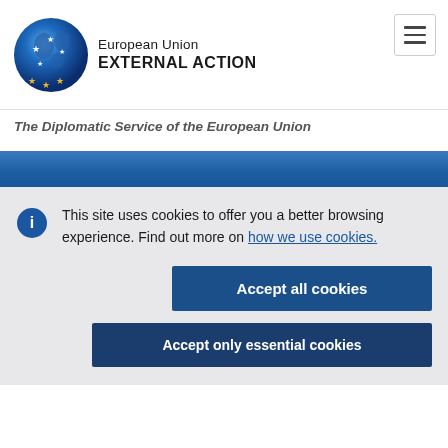[Figure (logo): European Union External Action logo: blue globe with EU stars, text 'European Union EXTERNAL ACTION' and gold stars]
The Diplomatic Service of the European Union
This site uses cookies to offer you a better browsing experience. Find out more on how we use cookies.
Accept all cookies
Accept only essential cookies